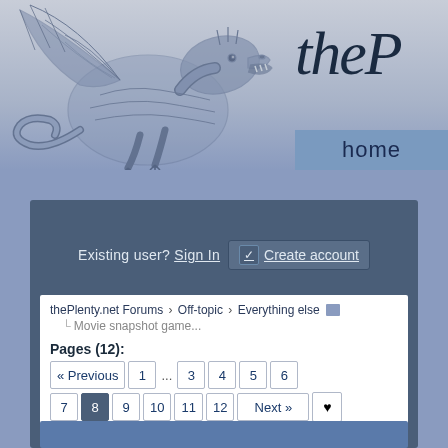[Figure (illustration): Dragon illustration in blue-gray tones, partial view showing dragon upper body, wings and head facing right. Part of 'thePlenty.net' forum website header banner.]
home
Existing user? Sign In  ☑ Create account
thePlenty.net Forums › Off-topic › Everything else   └ Movie snapshot game...
Pages (12): « Previous  1  ...  3  4  5  6
7  8  9  10  11  12  Next »  ♥